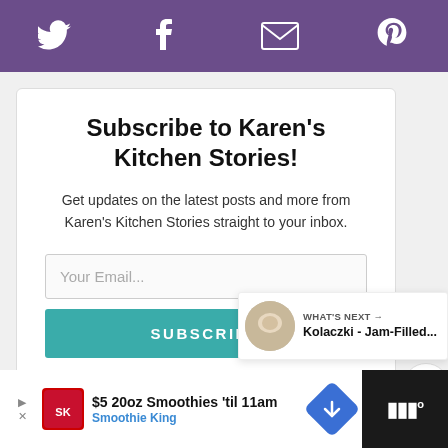[Figure (other): Purple social sharing bar with Twitter, Facebook, email, and Pinterest icons]
Subscribe to Karen's Kitchen Stories!
Get updates on the latest posts and more from Karen's Kitchen Stories straight to your inbox.
Your Email...
SUBSCRIBE
I consent to receiving emails and personaliz...
WHAT'S NEXT → Kolaczki - Jam-Filled...
[Figure (other): Advertisement bar: $5 20oz Smoothies 'til 11am - Smoothie King]
$5 20oz Smoothies 'til 11am
Smoothie King